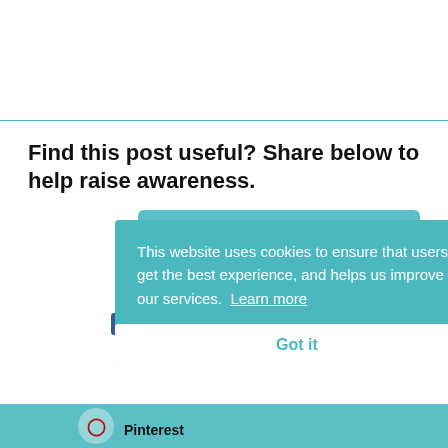Find this post useful? Share below to help raise awareness.
[Figure (infographic): Social sharing buttons: Download as a .pdf file, Twitter, Facebook, Pinterest on a teal/dark-teal background]
This website uses cookies to ensure that users get the best experience, and helps us improve our services. Learn more
Got it